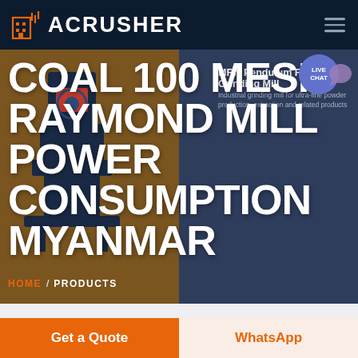ACRUSHER
COAL 100 MESH RAYMOND MILL POWER CONSUMPTION MYANMAR
[Figure (illustration): Industrial Raymond Mill grinding machine, dark blue/grey color]
MRN Pendulum Roller Grinding Mill
HOME / PRODUCTS
Get a Quote
WhatsApp